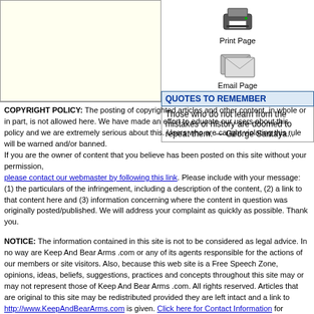[Figure (illustration): Printer icon with 'Print Page' label]
[Figure (illustration): Email/envelope icon with 'Email Page' label]
QUOTES TO REMEMBER
Those who do not learn from the mistakes of history are doomed to repeat them. — George Santaya...
COPYRIGHT POLICY: The posting of copyrighted articles and other content, in whole or in part, is not allowed here. We have made an effort to educate our users about this policy and we are extremely serious about this. Users who are caught violating this rule will be warned and/or banned.
If you are the owner of content that you believe has been posted on this site without your permission, please contact our webmaster by following this link. Please include with your message: (1) the particulars of the infringement, including a description of the content, (2) a link to that content here and (3) information concerning where the content in question was originally posted/published. We will address your complaint as quickly as possible. Thank you.
NOTICE: The information contained in this site is not to be considered as legal advice. In no way are Keep And Bear Arms .com or any of its agents responsible for the actions of our members or site visitors. Also, because this web site is a Free Speech Zone, opinions, ideas, beliefs, suggestions, practices and concepts throughout this site may or may not represent those of Keep And Bear Arms .com. All rights reserved. Articles that are original to this site may be redistributed provided they are left intact and a link to http://www.KeepAndBearArms.com is given. Click here for Contact Information for representatives of KeepAndBearArms.com.
Thawte.com is the leading provider of Public Key Infrastructure (PKI) and digital certificate solutions used by enterprises, Web sites, and consumers to conduct secure communications and transactions over the Internet and private networks.
KeepAndBearArms.com, Inc. © 1999-2022, All Rights Reserved. Privacy Policy